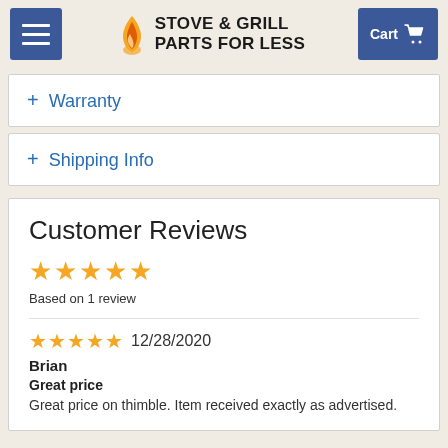STOVE & GRILL PARTS FOR LESS
+ Warranty
+ Shipping Info
Customer Reviews
Based on 1 review
12/28/2020
Brian
Great price
Great price on thimble. Item received exactly as advertised.